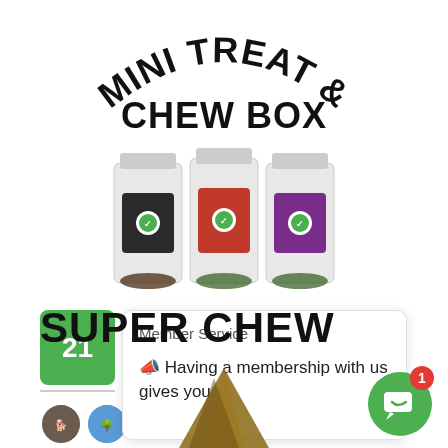MINI TREAT & CHEW BOX
[Figure (photo): Three small product bags of dog treats/chews with colored labels (black, red, purple), displayed in a row on a white background]
[Figure (screenshot): Partial chat widget popup showing green square with '21', two circular user avatars, and a white popup card reading 'Member Service' with megaphone emoji and text 'Having a membership with us gives you...']
SUPER CHEW
[Figure (photo): Partial image of a dog chew treat at bottom of page]
[Figure (other): Green circle chat button with white speech bubble icon and red notification badge showing '1']